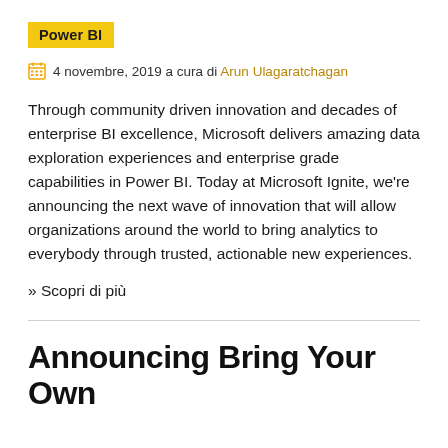Power BI
4 novembre, 2019 a cura di Arun Ulagaratchagan
Through community driven innovation and decades of enterprise BI excellence, Microsoft delivers amazing data exploration experiences and enterprise grade capabilities in Power BI. Today at Microsoft Ignite, we’re announcing the next wave of innovation that will allow organizations around the world to bring analytics to everybody through trusted, actionable new experiences.
» Scopri di più
Announcing Bring Your Own